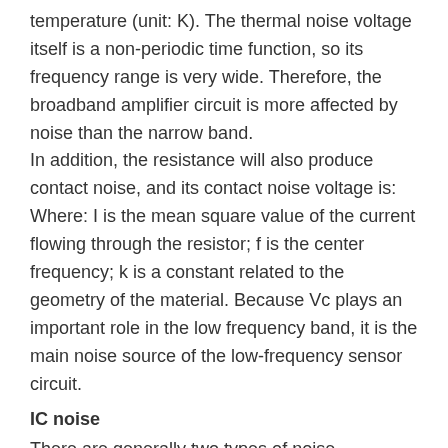temperature (unit: K). The thermal noise voltage itself is a non-periodic time function, so its frequency range is very wide. Therefore, the broadband amplifier circuit is more affected by noise than the narrow band.
In addition, the resistance will also produce contact noise, and its contact noise voltage is:
Where: I is the mean square value of the current flowing through the resistor; f is the center frequency; k is a constant related to the geometry of the material. Because Vc plays an important role in the low frequency band, it is the main noise source of the low-frequency sensor circuit.
IC noise
There are generally two types of noise interference in integrated circuits: one is radiated and the other is conducted. These noise spikes will have a greater impact on other electronic devices connected to the same AC power grid. The noise spectrum is spread above 100MHz. In the laboratory, you can use a high-frequency oscilloscope